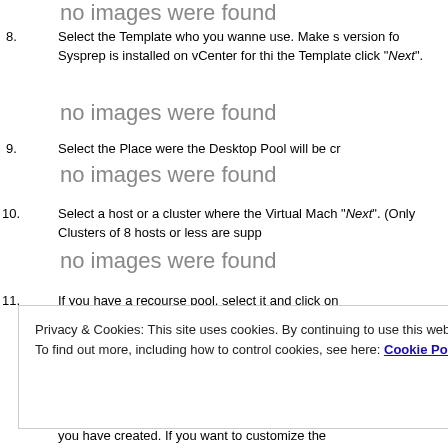no images were found
8. Select the Template who you wanne use. Make s... version fo Sysprep is installed on vCenter for thi... the Template click "Next".
no images were found
9. Select the Place were the Desktop Pool will be cr...
no images were found
10. Select a host or a cluster where the Virtual Mach... "Next". (Only Clusters of 8 hosts or less are supp...
no images were found
11. If you have a recourse pool, select it and click on...
no images were found
Privacy & Cookies: This site uses cookies. By continuing to use this website, you agree to their use. To find out more, including how to control cookies, see here: Cookie Policy
Close and accept
you have created. If you want to customize the ...